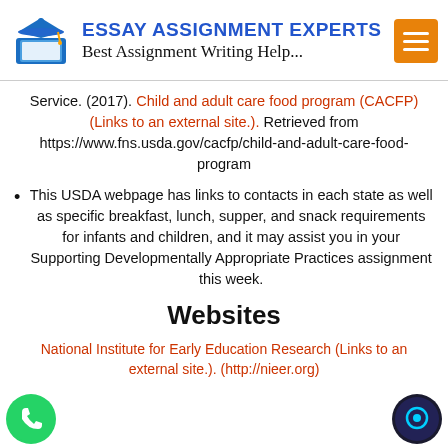[Figure (logo): Essay Assignment Experts logo with graduation cap and book icon, blue and white, with orange hamburger menu button]
Service. (2017). Child and adult care food program (CACFP) (Links to an external site.). Retrieved from https://www.fns.usda.gov/cacfp/child-and-adult-care-food-program
This USDA webpage has links to contacts in each state as well as specific breakfast, lunch, supper, and snack requirements for infants and children, and it may assist you in your Supporting Developmentally Appropriate Practices assignment this week.
Websites
National Institute for Early Education Research (Links to an external site.). (http://nieer.org)